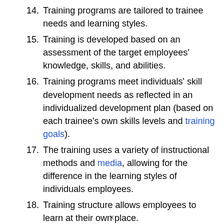14. Training programs are tailored to trainee needs and learning styles.
15. Training is developed based on an assessment of the target employees' knowledge, skills, and abilities.
16. Training programs meet individuals' skill development needs as reflected in an individualized development plan (based on each trainee's own skills levels and training goals).
17. The training uses a variety of instructional methods and media, allowing for the difference in the learning styles of individuals employees.
18. Training structure allows employees to learn at their own place.
19. Training programs build a learner'sn ability to transfer his skills to different work situations
x